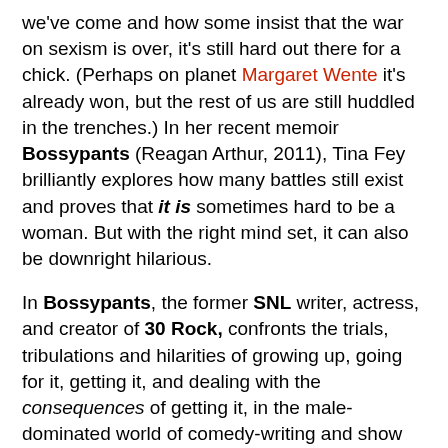we've come and how some insist that the war on sexism is over, it's still hard out there for a chick. (Perhaps on planet Margaret Wente it's already won, but the rest of us are still huddled in the trenches.) In her recent memoir Bossypants (Reagan Arthur, 2011), Tina Fey brilliantly explores how many battles still exist and proves that it is sometimes hard to be a woman. But with the right mind set, it can also be downright hilarious.
In Bossypants, the former SNL writer, actress, and creator of 30 Rock, confronts the trials, tribulations and hilarities of growing up, going for it, getting it, and dealing with the consequences of getting it, in the male-dominated world of comedy-writing and show business. Each of her challenges is approached with a combination of dignity, toughness and, of course, humour. When having to answer those who asked her “Is it hard for you, being the boss?” Fey points out that Donald Trump is probably never asked that same question. Bossypants is part memoir, part self-help guide, and part satirical retort to the absurdities that still exist in gender politics. And Tina Fey rolls it all up into one package. She shows how many of the struggles faced by women can still